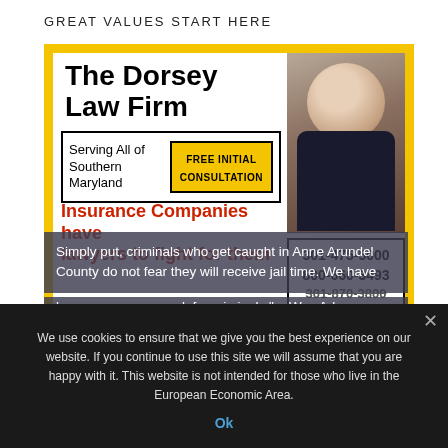GREAT VALUES START HERE
[Figure (photo): Advertisement for The Dorsey Law Firm on a yellow background. Includes text: 'The Dorsey Law Firm', 'Serving All of Southern Maryland', 'FREE INITIAL CONSULTATION', 'Insurance Companies have lawyers to fight for them', phone numbers 301-475-5000, 800-660-3493, 301-870-3800, an address on Court Street, Leonardtown, Md. 20650, and a photo of a man in a suit.]
Simply put, criminals who get caught in Anne Arundel County do not fear they will receive jail time. We have become an easy mark for criminals." – Wes Adams
We use cookies to ensure that we give you the best experience on our website. If you continue to use this site we will assume that you are happy with it. This website is not intended for those who live in the European Economic Area.
Ok